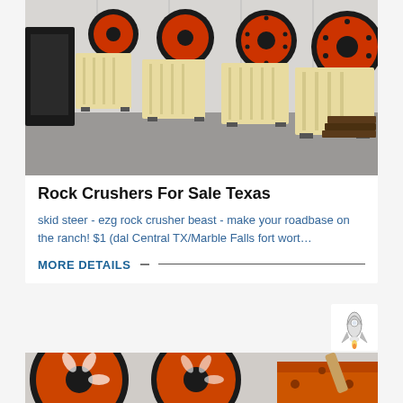[Figure (photo): Row of yellow/cream jaw rock crushers with red/orange flywheels lined up in a warehouse or factory floor. Multiple units visible.]
Rock Crushers For Sale Texas
skid steer - ezg rock crusher beast - make your roadbase on the ranch! $1 (dal Central TX/Marble Falls fort wort…
MORE DETAILS
[Figure (photo): Close-up of orange jaw crusher flywheels and machinery parts.]